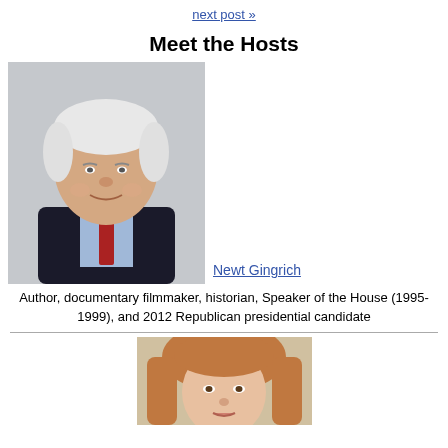next post »
Meet the Hosts
[Figure (photo): Portrait photo of Newt Gingrich, older white male with white hair, wearing dark suit and red tie, light blue shirt, smiling, against gray background]
Newt Gingrich
Author, documentary filmmaker, historian, Speaker of the House (1995-1999), and 2012 Republican presidential candidate
[Figure (photo): Portrait photo of a woman with reddish-blonde hair, partially visible at bottom of page]